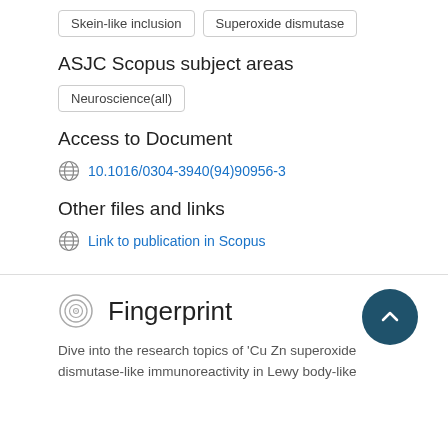Skein-like inclusion
Superoxide dismutase
ASJC Scopus subject areas
Neuroscience(all)
Access to Document
10.1016/0304-3940(94)90956-3
Other files and links
Link to publication in Scopus
Fingerprint
Dive into the research topics of 'Cu Zn superoxide dismutase-like immunoreactivity in Lewy body-like